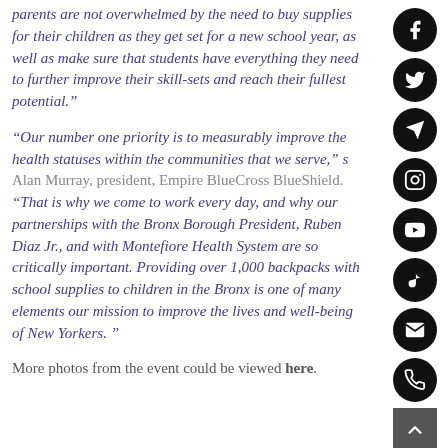parents are not overwhelmed by the need to buy supplies for their children as they get set for a new school year, as well as make sure that students have everything they need to further improve their skill-sets and reach their fullest potential.”
“Our number one priority is to measurably improve the health statuses within the communities that we serve,” s Alan Murray, president, Empire BlueCross BlueShield. “That is why we come to work every day, and why our partnerships with the Bronx Borough President, Ruben Diaz Jr., and with Montefiore Health System are so critically important. Providing over 1,000 backpacks with school supplies to children in the Bronx is one of many elements our mission to improve the lives and well-being of New Yorkers. ”
More photos from the event could be viewed here.